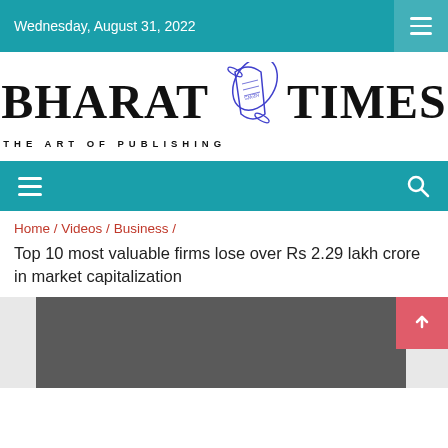Wednesday, August 31, 2022
[Figure (logo): Bharat Times logo with newspaper scroll illustration. Text reads BHARAT TIMES THE ART OF PUBLISHING]
Navigation bar with hamburger menu and search icon
Home / Videos / Business /
Top 10 most valuable firms lose over Rs 2.29 lakh crore in market capitalization
[Figure (screenshot): Dark gray video thumbnail area]